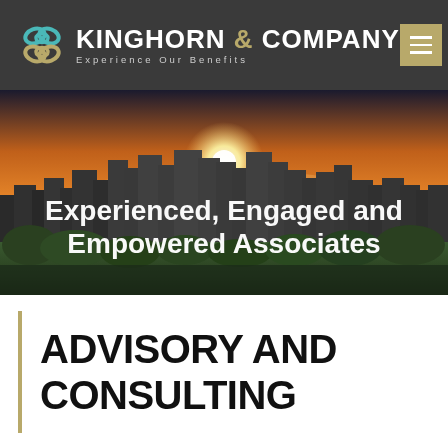Kinghorn & Company — Experience Our Benefits
[Figure (photo): City skyline at sunset with warm orange sky and urban buildings. Overlaid white text reads: Experienced, Engaged and Empowered Associates.]
ADVISORY AND CONSULTING